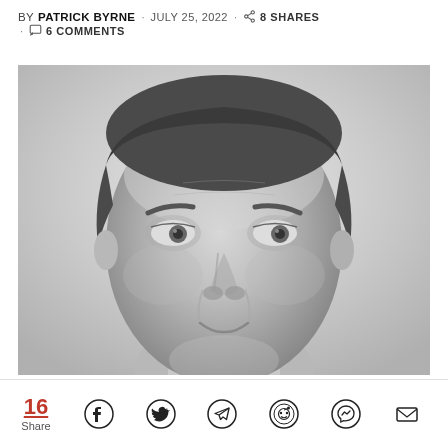BY PATRICK BYRNE · JULY 25, 2022 · 8 SHARES · 6 COMMENTS
[Figure (photo): Black and white headshot portrait of Patrick Byrne, a middle-aged man with dark hair, smiling slightly, wearing a collared shirt]
16 Share — social sharing icons: Facebook, Twitter, Telegram, Reddit, Messenger, Email